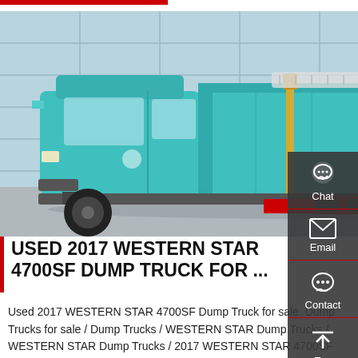[Figure (photo): Side view of a 2017 Western Star 4700SF dump truck in teal/turquoise color parked in front of a glass-facade building. The truck has a large dump bed raised slightly, red accents near the frame, and dual rear axles with large tires.]
USED 2017 WESTERN STAR 4700SF DUMP TRUCK FOR ...
Used 2017 WESTERN STAR 4700SF Dump Truck for sale. Dump Trucks for sale / Dump Trucks / WESTERN STAR Dump Trucks / WESTERN STAR Dump Trucks / 2017 WESTERN STAR 4700SF #1060